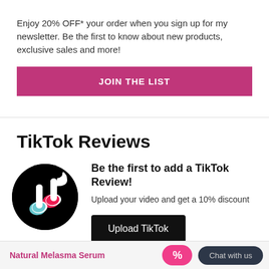Enjoy 20% OFF* your order when you sign up for my newsletter. Be the first to know about new products, exclusive sales and more!
JOIN THE LIST
TikTok Reviews
[Figure (logo): TikTok logo — white musical note on black circle]
Be the first to add a TikTok Review!
Upload your video and get a 10% discount
Upload TikTok
Natural Melasma Serum
Chat with us